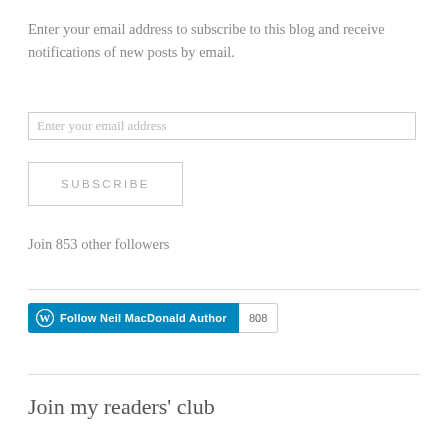Enter your email address to subscribe to this blog and receive notifications of new posts by email.
[Figure (other): Email input text field with placeholder text 'Enter your email address']
[Figure (other): SUBSCRIBE button with border]
Join 853 other followers
[Figure (other): WordPress Follow button for 'Follow Neil MacDonald Author' with count badge showing 808]
Join my readers' club